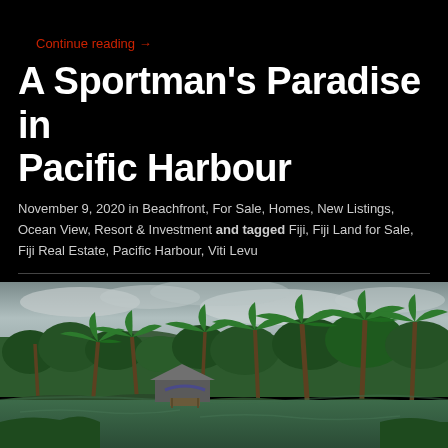Continue reading →
A Sportman's Paradise in Pacific Harbour
November 9, 2020 in Beachfront, For Sale, Homes, New Listings, Ocean View, Resort & Investment and tagged Fiji, Fiji Land for Sale, Fiji Real Estate, Pacific Harbour, Viti Levu
[Figure (photo): Panoramic photo of a tropical waterfront scene in Pacific Harbour, Fiji, showing a calm river or lagoon in the foreground, a house with a dock/gazebo in the middle ground, and tall palm trees and lush green tropical vegetation against an overcast grey sky in the background.]